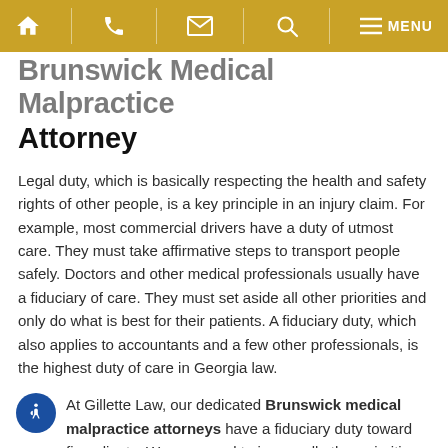Navigation bar with home, phone, email, search, and menu icons
Brunswick Medical Malpractice Attorney
Legal duty, which is basically respecting the health and safety rights of other people, is a key principle in an injury claim. For example, most commercial drivers have a duty of utmost care. They must take affirmative steps to transport people safely. Doctors and other medical professionals usually have a fiduciary of care. They must set aside all other priorities and only do what is best for their patients. A fiduciary duty, which also applies to accountants and a few other professionals, is the highest duty of care in Georgia law.
At Gillette Law, our dedicated Brunswick medical malpractice attorneys have a fiduciary duty toward firm clients. We are proud to ignore all other priorities, like making money or professional advancement, and